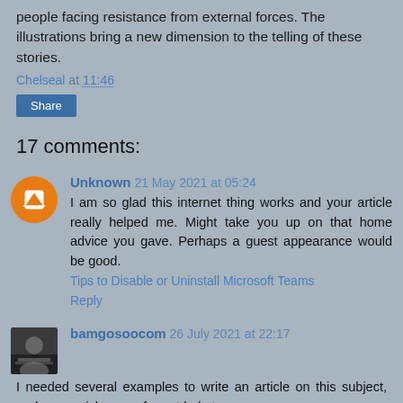people facing resistance from external forces. The illustrations bring a new dimension to the telling of these stories.
Chelseal at 11:46
Share
17 comments:
Unknown 21 May 2021 at 05:24
I am so glad this internet thing works and your article really helped me. Might take you up on that home advice you gave. Perhaps a guest appearance would be good.
Tips to Disable or Uninstall Microsoft Teams
Reply
bamgosoocom 26 July 2021 at 22:17
I needed several examples to write an article on this subject, and your article was of great help to me.